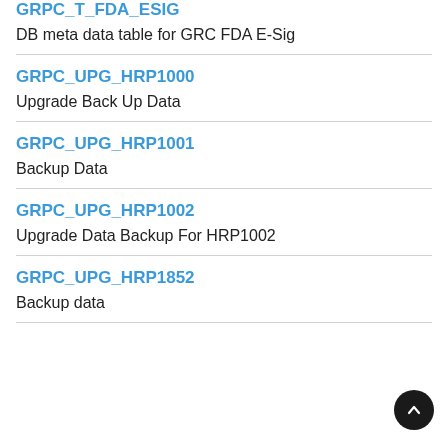GRPC_T_FDA_ESIG
DB meta data table for GRC FDA E-Sig
GRPC_UPG_HRP1000
Upgrade Back Up Data
GRPC_UPG_HRP1001
Backup Data
GRPC_UPG_HRP1002
Upgrade Data Backup For HRP1002
GRPC_UPG_HRP1852
Backup data